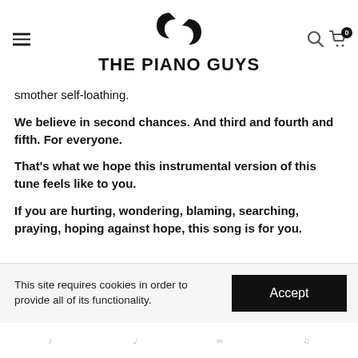THE PIANO GUYS
smother self-loathing.
We believe in second chances. And third and fourth and fifth. For everyone.
That's what we hope this instrumental version of this tune feels like to you.
If you are hurting, wondering, blaming, searching, praying, hoping against hope, this song is for you.
This site requires cookies in order to provide all of its functionality.